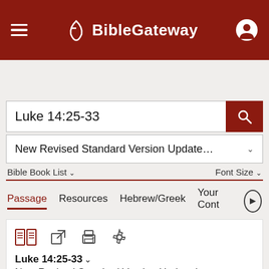BibleGateway
Luke 14:25-33
New Revised Standard Version Update... ∨
Bible Book List ∨   Font Size ∨
Passage   Resources   Hebrew/Greek   Your Cont
Luke 14:25-33 ∨
New Revised Standard Version Updated ∨